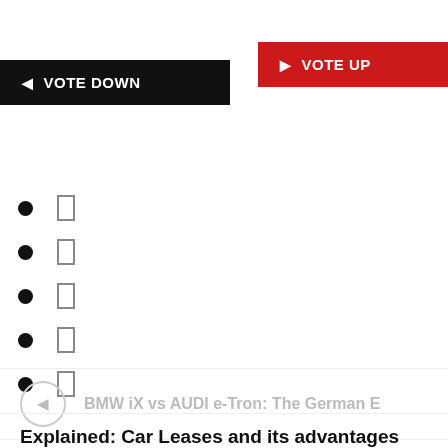[Figure (screenshot): Black 'VOTE DOWN' button with left arrow icon]
[Figure (screenshot): Red 'VOTE UP' button with right arrow icon]
bullet with empty box icon
bullet with empty box icon
bullet with empty box icon
bullet with empty box icon
bullet with empty box icon
BMW iX vs AUDI e-Tron: The German E
Explained: Car Leases and its advantages